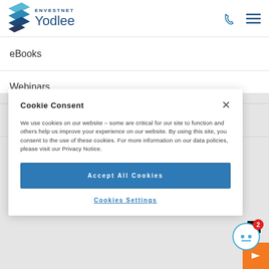[Figure (logo): Envestnet Yodlee logo with blue wave graphic and text]
eBooks
Webinars
Whitepapers
Cookie Consent
We use cookies on our website – some are critical for our site to function and others help us improve your experience on our website. By using this site, you consent to the use of these cookies. For more information on our data policies, please visit our Privacy Notice.
Accept All Cookies
Cookies Settings